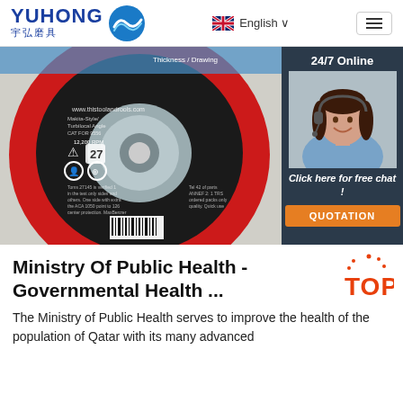YUHONG 宇弘磨具 | English | Menu
[Figure (photo): Close-up photo of a red and black grinding/cutting disc with metallic center hub and barcode, overlaid with a chat widget showing a customer service agent with headset, '24/7 Online' text, 'Click here for free chat!' and 'QUOTATION' button]
Ministry Of Public Health - Governmental Health ...
The Ministry of Public Health serves to improve the health of the population of Qatar with its many advanced